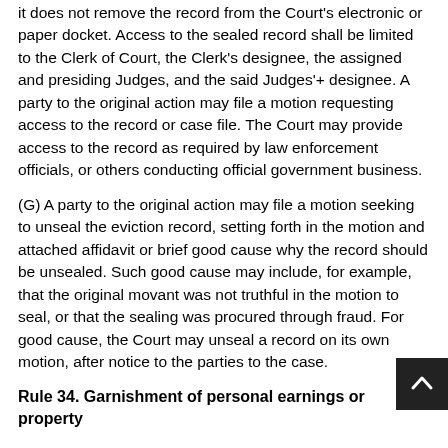it does not remove the record from the Court's electronic or paper docket. Access to the sealed record shall be limited to the Clerk of Court, the Clerk's designee, the assigned and presiding Judges, and the said Judges'+ designee. A party to the original action may file a motion requesting access to the record or case file. The Court may provide access to the record as required by law enforcement officials, or others conducting official government business.
(G) A party to the original action may file a motion seeking to unseal the eviction record, setting forth in the motion and attached affidavit or brief good cause why the record should be unsealed. Such good cause may include, for example, that the original movant was not truthful in the motion to seal, or that the sealing was procured through fraud. For good cause, the Court may unseal a record on its own motion, after notice to the parties to the case.
Rule 34. Garnishment of personal earnings or property